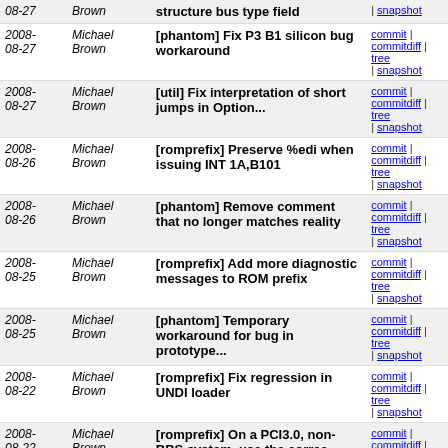| Date | Author | Message | Links |
| --- | --- | --- | --- |
| 2008-08-27 | Michael Brown | [phantom] Fix P3 B1 silicon bug workaround | commit | commitdiff | tree | snapshot |
| 2008-08-27 | Michael Brown | [util] Fix interpretation of short jumps in Option... | commit | commitdiff | tree | snapshot |
| 2008-08-26 | Michael Brown | [romprefix] Preserve %edi when issuing INT 1A,B101 | commit | commitdiff | tree | snapshot |
| 2008-08-26 | Michael Brown | [phantom] Remove comment that no longer matches reality | commit | commitdiff | tree | snapshot |
| 2008-08-25 | Michael Brown | [romprefix] Add more diagnostic messages to ROM prefix | commit | commitdiff | tree | snapshot |
| 2008-08-25 | Michael Brown | [phantom] Temporary workaround for bug in prototype... | commit | commitdiff | tree | snapshot |
| 2008-08-22 | Michael Brown | [romprefix] Fix regression in UNDI loader | commit | commitdiff | tree | snapshot |
| 2008-08-22 | Michael Brown | [romprefix] On a PCI3.0, non-BBS system, use the correc... | commit | commitdiff | tree | snapshot |
| 2008-08-22 | Michael Brown | [elf] Add execution entry point debug messages for... | commit | commitdiff | tree | snapshot |
| 2008-08-21 | Michael Brown | [pxe] Add extra debug messages to the PXE UDP API calls | commit | commitdiff | tree | snapshot |
| 2008-08-21 | Michael Brown | [pxe] Fix broadcast transmissions via PXENV_UDP_WRITE | commit | commitdiff | tree | snapshot |
| 2008- | Michael Brown | [undi] Fill in ProtType correctly | commit | commitdiff | tree |